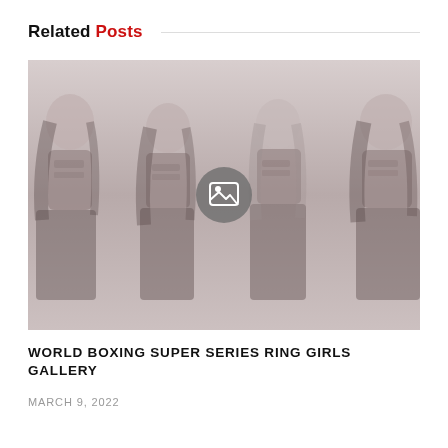Related Posts
[Figure (photo): Four women in matching black crop tops and shorts standing together, image shown faded/washed out with a gallery icon overlay in the center]
WORLD BOXING SUPER SERIES RING GIRLS GALLERY
MARCH 9, 2022